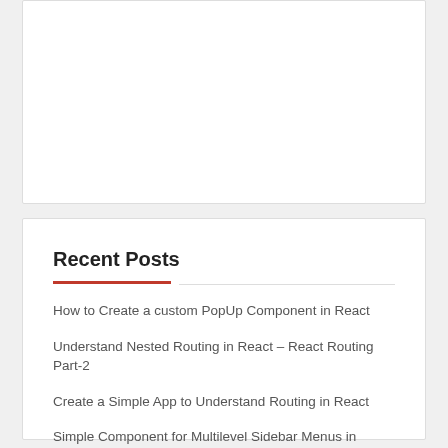Recent Posts
How to Create a custom PopUp Component in React
Understand Nested Routing in React – React Routing Part-2
Create a Simple App to Understand Routing in React
Simple Component for Multilevel Sidebar Menus in React
Simple Component for Multilevel Navigation Menus in React